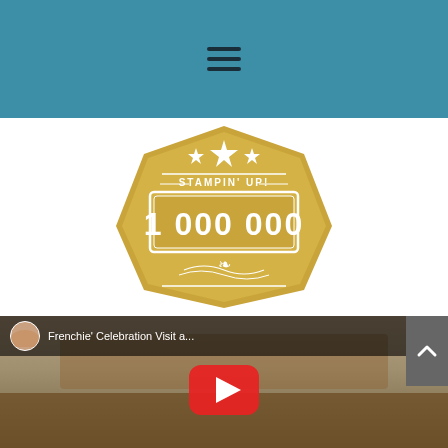Navigation bar with hamburger menu
[Figure (logo): Stampin' Up! 1 000 000 gold badge/seal with stars and decorative elements]
[Figure (screenshot): YouTube video thumbnail titled 'Frenchie' Celebration Visit a...' showing three women in an indoor setting with a YouTube play button overlay]